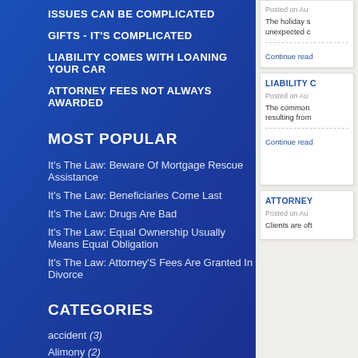ISSUES CAN BE COMPLICATED
GIFTS - IT'S COMPLICATED
LIABILITY COMES WITH LOANING YOUR CAR
ATTORNEY FEES NOT ALWAYS AWARDED
MOST POPULAR
It's The Law: Beware Of Mortgage Rescue Assistance
It's The Law: Beneficiaries Come Last
It's The Law: Drugs Are Bad
It's The Law: Equal Ownership Usually Means Equal Obligation
It's The Law: Attorney'S Fees Are Granted In Divorce
CATEGORIES
accident (3)
Alimony (2)
Arbitration (3)
Articles (268)
As-Is Contract (2)
Posted on Au...
The holiday s... unexpected c...
Continue read...
LIABILITY C...
Posted on Au...
The common resulting from...
Continue read...
ATTORNEY...
Posted on Au...
Clients are oft...